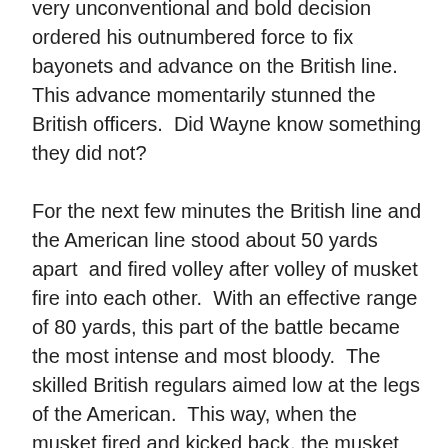very unconventional and bold decision ordered his outnumbered force to fix bayonets and advance on the British line.  This advance momentarily stunned the British officers.  Did Wayne know something they did not?

For the next few minutes the British line and the American line stood about 50 yards apart  and fired volley after volley of musket fire into each other.  With an effective range of 80 yards, this part of the battle became the most intense and most bloody.  The skilled British regulars aimed low at the legs of the American.  This way, when the musket fired and kicked back, the musket ball would go slightly higher and hit the enemy in the body.  To have stood and fought in an open field at that range would have been an absolutely terrifying ordeal.  But there they stood and fought.  One contemporary later called it “Madness!”  Troops after the battle could actually tell how close the